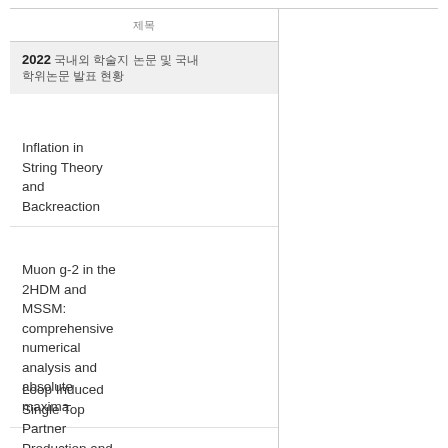제목
2022 국내외 학술지 논문 및 국내 학위논문 발표 현황
Inflation in String Theory and Backreaction
Muon g-2 in the 2HDM and MSSM: comprehensive numerical analysis and absolute maxima
Loop Induced Single Top Partner Production and Decay at the LHC